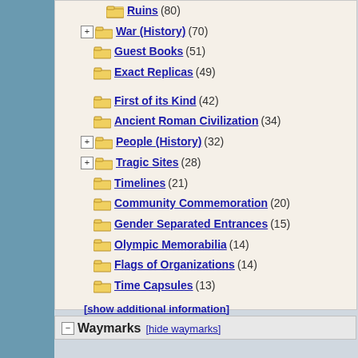Ruins (80)
War (History) (70)
Guest Books (51)
Exact Replicas (49)
First of its Kind (42)
Ancient Roman Civilization (34)
People (History) (32)
Tragic Sites (28)
Timelines (21)
Community Commemoration (20)
Gender Separated Entrances (15)
Olympic Memorabilia (14)
Flags of Organizations (14)
Time Capsules (13)
[show additional information]
Waymarks [hide waymarks]